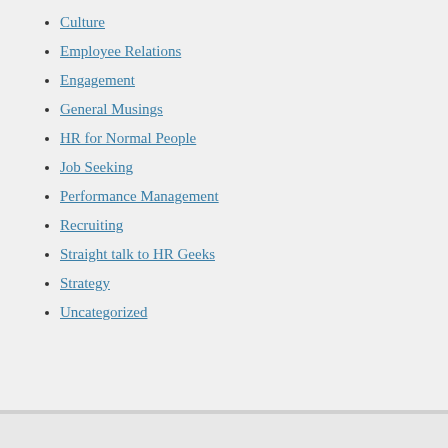Culture
Employee Relations
Engagement
General Musings
HR for Normal People
Job Seeking
Performance Management
Recruiting
Straight talk to HR Geeks
Strategy
Uncategorized